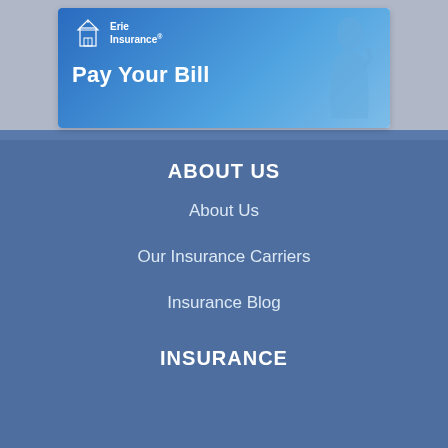[Figure (screenshot): Erie Insurance 'Pay Your Bill' banner with logo on left and woman silhouette on right, blue gradient background]
ABOUT US
About Us
Our Insurance Carriers
Insurance Blog
INSURANCE